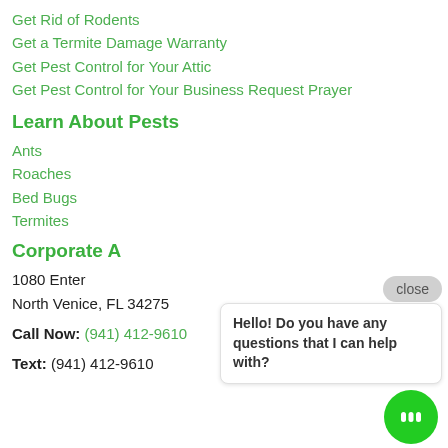Get Rid of Rodents
Get a Termite Damage Warranty
Get Pest Control for Your Attic
Get Pest Control for Your Business Request Prayer
Learn About Pests
Ants
Roaches
Bed Bugs
Termites
Corporate A
1080 Enter
North Venice, FL 34275
Call Now: (941) 412-9610
Text: (941) 412-9610
Hello! Do you have any questions that I can help with?